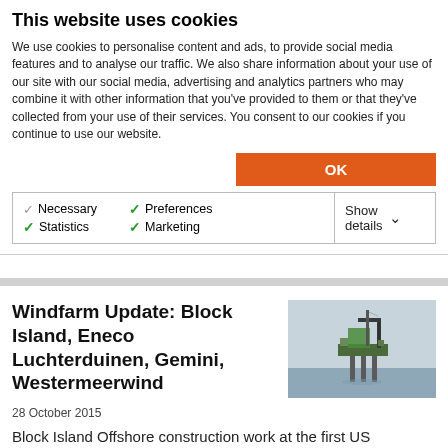This website uses cookies
We use cookies to personalise content and ads, to provide social media features and to analyse our traffic. We also share information about your use of our site with our social media, advertising and analytics partners who may combine it with other information that you've provided to them or that they've collected from your use of their services. You consent to our cookies if you continue to use our website.
OK
Necessary  Preferences  Statistics  Marketing  Show details
Windfarm Update: Block Island, Eneco Luchterduinen, Gemini, Westermeerwind
[Figure (photo): Offshore jack-up platform or installation vessel at sea, with crane and green structure visible against a grey sky and calm water.]
28 October 2015
Block Island Offshore construction work at the first US